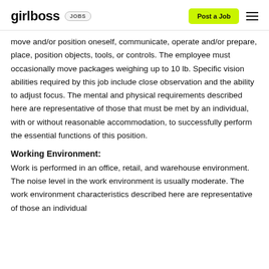girlboss JOBS | Post a Job
move and/or position oneself, communicate, operate and/or prepare, place, position objects, tools, or controls. The employee must occasionally move packages weighing up to 10 lb. Specific vision abilities required by this job include close observation and the ability to adjust focus. The mental and physical requirements described here are representative of those that must be met by an individual, with or without reasonable accommodation, to successfully perform the essential functions of this position.
Working Environment:
Work is performed in an office, retail, and warehouse environment. The noise level in the work environment is usually moderate. The work environment characteristics described here are representative of those an individual...